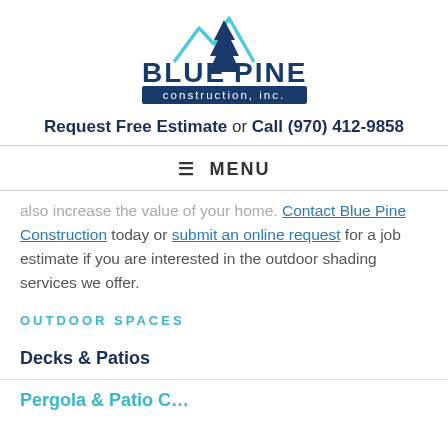[Figure (logo): Blue Pine Construction, Inc. logo with mountain silhouette and pine tree in blue tones]
Request Free Estimate or Call (970) 412-9858
≡ MENU
also increase the value of your home. Contact Blue Pine Construction today or submit an online request for a job estimate if you are interested in the outdoor shading services we offer.
OUTDOOR SPACES
Decks & Patios
Pergola & Patio C...